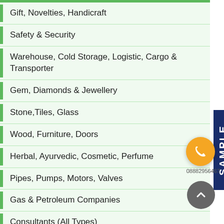Gift, Novelties, Handicraft
Safety & Security
Warehouse, Cold Storage, Logistic, Cargo & Transporter
Gem, Diamonds & Jewellery
Stone, Tiles, Glass
Wood, Furniture, Doors
Herbal, Ayurvedic, Cosmetic, Perfume
Pipes, Pumps, Motors, Valves
Gas & Petroleum Companies
Consultants (All Types)
Used Machinery & Tools